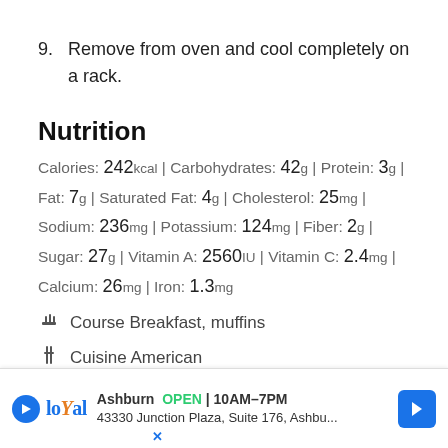9. Remove from oven and cool completely on a rack.
Nutrition
Calories: 242kcal | Carbohydrates: 42g | Protein: 3g | Fat: 7g | Saturated Fat: 4g | Cholesterol: 25mg | Sodium: 236mg | Potassium: 124mg | Fiber: 2g | Sugar: 27g | Vitamin A: 2560IU | Vitamin C: 2.4mg | Calcium: 26mg | Iron: 1.3mg
Course Breakfast, muffins
Cuisine American
Ke... muffins...
Ashburn OPEN | 10AM–7PM 43330 Junction Plaza, Suite 176, Ashbu...